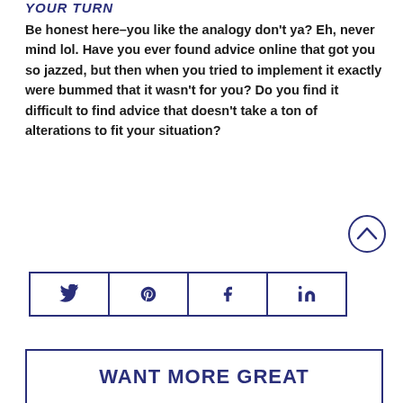YOUR TURN
Be honest here–you like the analogy don't ya? Eh, never mind lol. Have you ever found advice online that got you so jazzed, but then when you tried to implement it exactly were bummed that it wasn't for you? Do you find it difficult to find advice that doesn't take a ton of alterations to fit your situation?
[Figure (infographic): Social share buttons for Twitter, Pinterest, Facebook, and LinkedIn in dark navy outline style]
WANT MORE GREAT